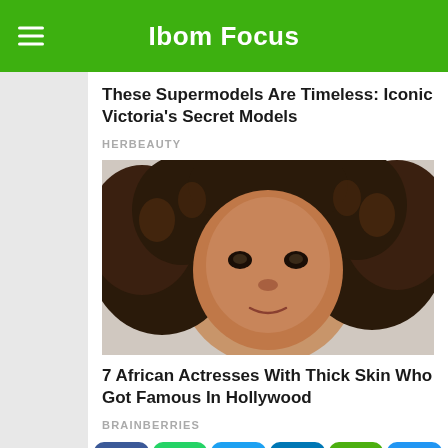Ibom Focus
These Supermodels Are Timeless: Iconic Victoria's Secret Models
HERBEAUTY
[Figure (photo): Close-up portrait photo of a woman with curly dark hair with highlights, looking directly at camera]
7 African Actresses With Thick Skin Who Got Famous In Hollywood
BRAINBERRIES
[Figure (infographic): Social sharing buttons: Facebook, WhatsApp, Twitter, LinkedIn, SMS, More]